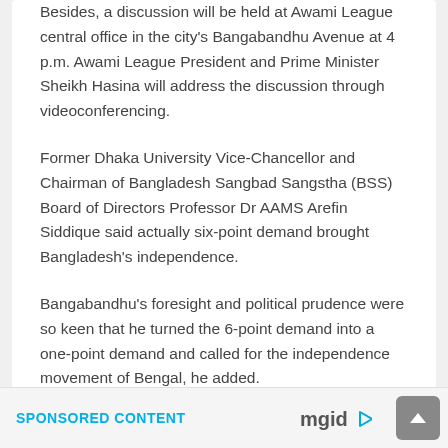Besides, a discussion will be held at Awami League central office in the city's Bangabandhu Avenue at 4 p.m. Awami League President and Prime Minister Sheikh Hasina will address the discussion through videoconferencing.
Former Dhaka University Vice-Chancellor and Chairman of Bangladesh Sangbad Sangstha (BSS) Board of Directors Professor Dr AAMS Arefin Siddique said actually six-point demand brought Bangladesh's independence.
Bangabandhu's foresight and political prudence were so keen that he turned the 6-point demand into a one-point demand and called for the independence movement of Bengal, he added.
SPONSORED CONTENT